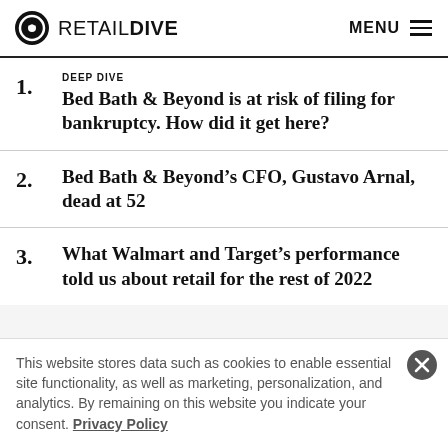RETAIL DIVE | MENU
1. DEEP DIVE
Bed Bath & Beyond is at risk of filing for bankruptcy. How did it get here?
2. Bed Bath & Beyond’s CFO, Gustavo Arnal, dead at 52
3. What Walmart and Target’s performance told us about retail for the rest of 2022
This website stores data such as cookies to enable essential site functionality, as well as marketing, personalization, and analytics. By remaining on this website you indicate your consent. Privacy Policy